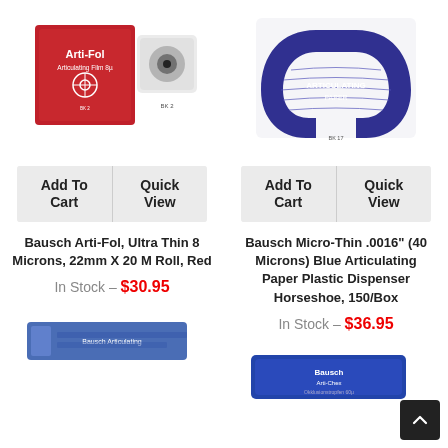[Figure (photo): Bausch Arti-Fol red box with articulating film dispenser, product BK2]
[Figure (photo): Blue horseshoe-shaped articulating paper in plastic dispenser]
Add To Cart
Quick View
Add To Cart
Quick View
Bausch Arti-Fol, Ultra Thin 8 Microns, 22mm X 20 M Roll, Red
Bausch Micro-Thin .0016" (40 Microns) Blue Articulating Paper Plastic Dispenser Horseshoe, 150/Box
In Stock – $30.95
In Stock – $36.95
[Figure (photo): Blue articulating paper strip product at bottom left]
[Figure (photo): Bausch Arti-Chex blue box product at bottom right]